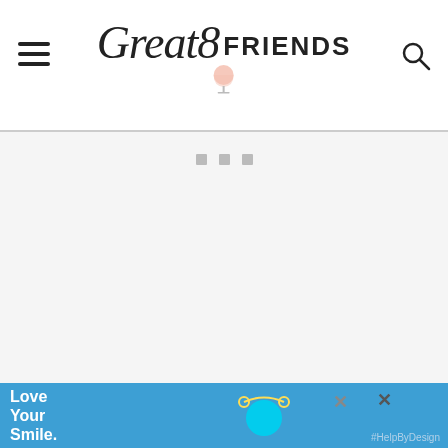Great 8 Friends
[Figure (other): Advertisement placeholder area with three small grey squares/dots centered]
WHAT WOULD BE GOOD WITH THIS POTATO AND...
[Figure (other): Green circular heart/save button with count of 3, and green circular share button]
[Figure (other): Blue advertisement banner at bottom: Love Your Smile. #HelpByDesign with dental product illustration]